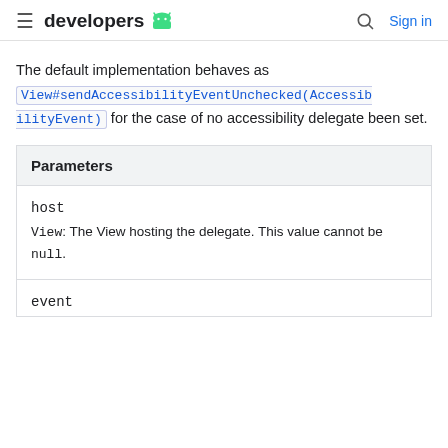developers | Sign in
The default implementation behaves as View#sendAccessibilityEventUnchecked(AccessibilityEvent) for the case of no accessibility delegate been set.
| Parameters |
| --- |
| host |  |
| View: The View hosting the delegate. This value cannot be null. |
| event |  |
event